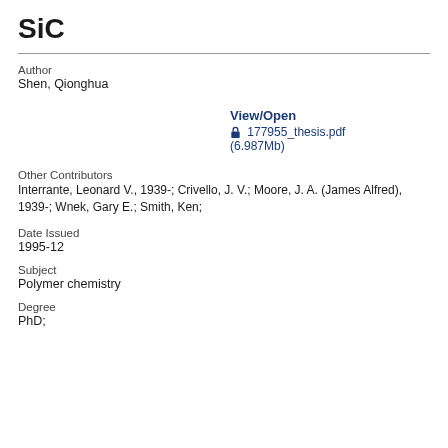SiC
Author
Shen, Qionghua
View/Open
177955_thesis.pdf (6.987Mb)
Other Contributors
Interrante, Leonard V., 1939-; Crivello, J. V.; Moore, J. A. (James Alfred), 1939-; Wnek, Gary E.; Smith, Ken;
Date Issued
1995-12
Subject
Polymer chemistry
Degree
PhD;